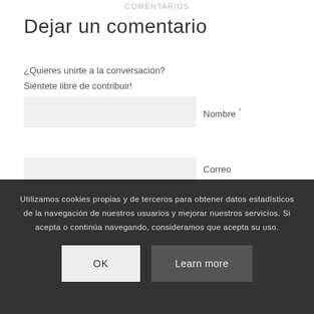COMENTARIOS
Dejar un comentario
¿Quieres unirte a la conversación?
Siéntete libre de contribuir!
Nombre *
Correo electrónico *
Web
Utilizamos cookies propias y de terceros para obtener datos estadísticos de la navegación de nuestros usuarios y mejorar nuestros servicios. Si acepta o continúa navegando, consideramos que acepta su uso.
OK
Learn more